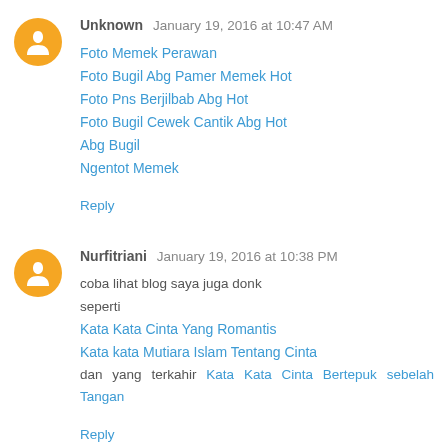Unknown January 19, 2016 at 10:47 AM
Foto Memek Perawan
Foto Bugil Abg Pamer Memek Hot
Foto Pns Berjilbab Abg Hot
Foto Bugil Cewek Cantik Abg Hot
Abg Bugil
Ngentot Memek
Reply
Nurfitriani January 19, 2016 at 10:38 PM
coba lihat blog saya juga donk
seperti
Kata Kata Cinta Yang Romantis
Kata kata Mutiara Islam Tentang Cinta
dan yang terkahir Kata Kata Cinta Bertepuk sebelah Tangan
Reply